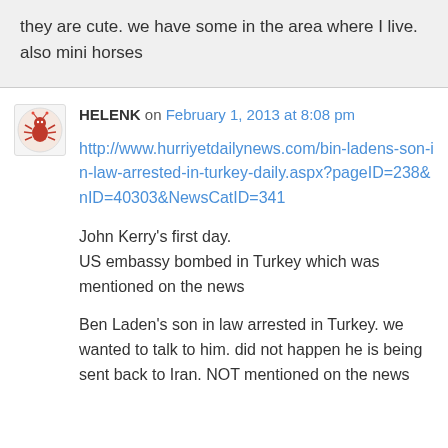they are cute. we have some in the area where I live. also mini horses
HELENK on February 1, 2013 at 8:08 pm
http://www.hurriyetdailynews.com/bin-ladens-son-in-law-arrested-in-turkey-daily.aspx?pageID=238&nID=40303&NewsCatID=341
John Kerry's first day.
US embassy bombed in Turkey which was mentioned on the news
Ben Laden's son in law arrested in Turkey. we wanted to talk to him. did not happen he is being sent back to Iran. NOT mentioned on the news